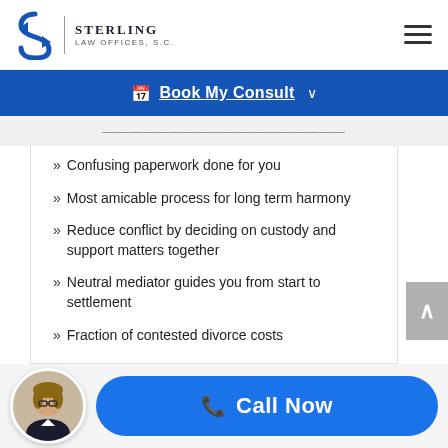[Figure (logo): Sterling Law Offices S.C. logo with stylized S and firm name]
Book My Consult
(partial header text row, clipped)
Confusing paperwork done for you
Most amicable process for long term harmony
Reduce conflict by deciding on custody and support matters together
Neutral mediator guides you from start to settlement
Fraction of contested divorce costs
[Figure (photo): Circular avatar photo of a woman in professional attire]
Call Now